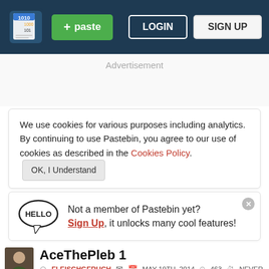[Figure (screenshot): Pastebin website header with logo, green +paste button, LOGIN and SIGN UP buttons on dark navy background]
Advertisement
We use cookies for various purposes including analytics. By continuing to use Pastebin, you agree to our use of cookies as described in the Cookies Policy. OK, I Understand
Not a member of Pastebin yet? Sign Up, it unlocks many cool features!
AceThePleb 1
FLEISCHGERUCH   MAY 19TH, 2014   463   NEVER
Not a member of Pastebin yet? Sign Up, it unlocks many cool features!